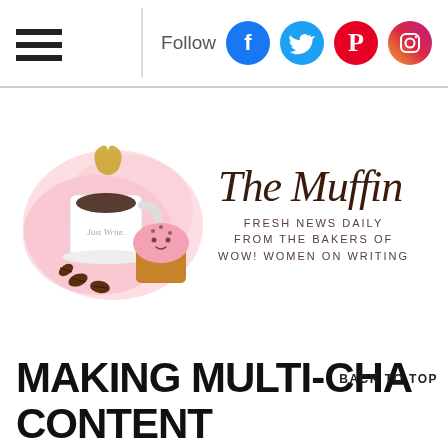Follow [social icons: Facebook, Twitter, Pinterest, Instagram]
[Figure (logo): The Muffin blog logo: watercolor pink splash with a white coffee mug labeled 'Just Write', coffee beans, a cute pink cupcake, and a gold heart steam swirl above the cup. Text reads 'The Muffin' in cursive brown script. Subtext: 'FRESH NEWS DAILY FROM THE BAKERS OF WOW! WOMEN ON WRITING']
MAKING MULTI-CHANNEL CONTENT
BACK TO TOP